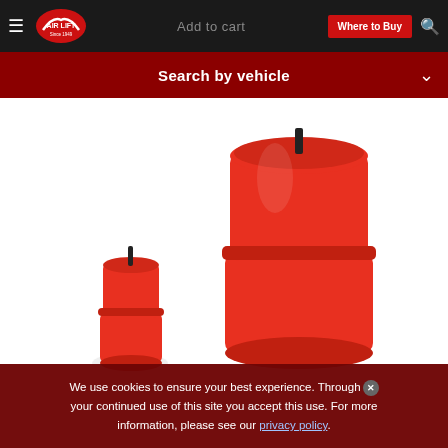Add to cart | Where to Buy
Search by vehicle
[Figure (photo): Two red cylindrical air spring/helper spring components on white background. Large one in center, smaller one in lower left.]
We use cookies to ensure your best experience. Through your continued use of this site you accept this use. For more information, please see our privacy policy.